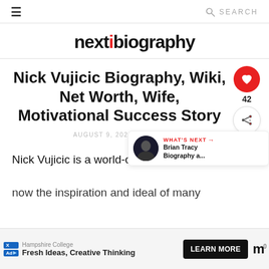≡   🔍 SEARCH
nextbiography
Nick Vujicic Biography, Wiki, Net Worth, Wife, Motivational Success Story
AUGUST 9, 2022 – REHAN RAZA
Nick Vujicic is a world-changing mo... now the inspiration and ideal of many p...sidered.
[Figure (other): Advertisement banner: Hampshire College – Fresh Ideas, Creative Thinking – LEARN MORE button, ad icons and logo]